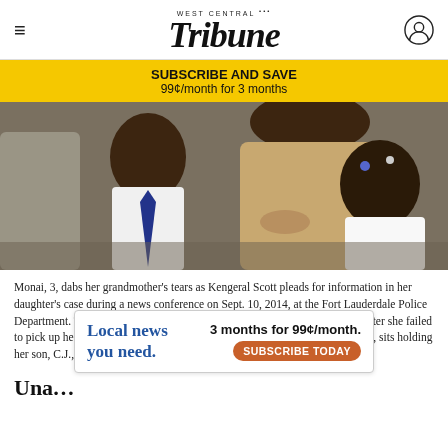WEST CENTRAL Tribune
SUBSCRIBE AND SAVE
99¢/month for 3 months
[Figure (photo): A young boy in a white shirt and blue tie sits next to a woman in a tan blouse who is holding a baby girl dressed in white. The children appear to be at a formal event or press conference.]
Monai, 3, dabs her grandmother's tears as Kengeral Scott pleads for information in her daughter's case during a news conference on Sept. 10, 2014, at the Fort Lauderdale Police Department. Trukita Scott was declared a missing person on June 25, 2014, after she failed to pick up her children from day care. Trukita Scott's stepfather, Charles Allen, sits holding her son, C.J., 1. Amy Beth Bennett/TNS
[Figure (infographic): Advertisement overlay: 'Local news you need. 3 months for 99¢/month. SUBSCRIBE TODAY']
Una…